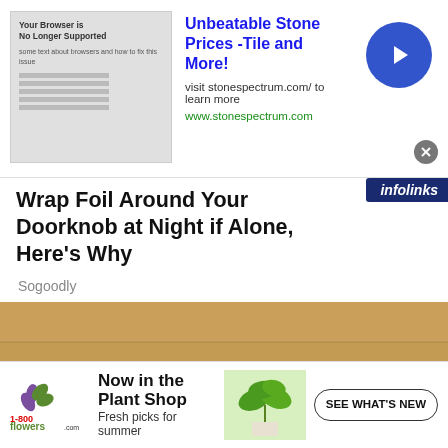[Figure (screenshot): Top banner advertisement for stonespectrum.com: 'Unbeatable Stone Prices -Tile and More!' with browser thumbnail, blue arrow button, and close X button]
Wrap Foil Around Your Doorknob at Night if Alone, Here's Why
Sogoodly
[Figure (photo): Close-up photo of an elderly person's hand holding/massaging their ankle and foot on a wooden floor background]
[Figure (screenshot): Bottom banner advertisement for 1-800-flowers.com: 'Now in the Plant Shop - Fresh picks for summer' with plant image and 'SEE WHAT'S NEW' button]